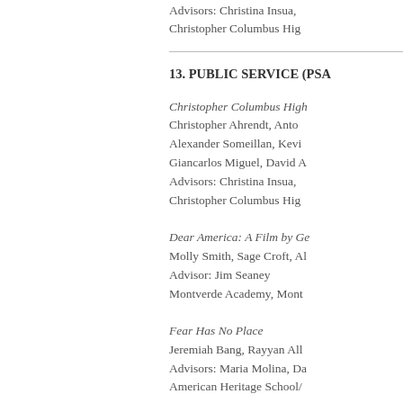Advisors: Christina Insua, Christopher Columbus Hig
13. PUBLIC SERVICE (PSA
Christopher Columbus High
Christopher Ahrendt, Anto
Alexander Someillan, Kevi
Giancarlos Miguel, David A
Advisors: Christina Insua,
Christopher Columbus Hig
Dear America: A Film by Ge
Molly Smith, Sage Croft, Al
Advisor: Jim Seaney
Montverde Academy, Mont
Fear Has No Place
Jeremiah Bang, Rayyan All
Advisors: Maria Molina, Da
American Heritage School/